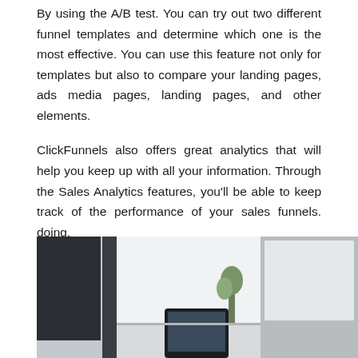By using the A/B test. You can try out two different funnel templates and determine which one is the most effective. You can use this feature not only for templates but also to compare your landing pages, ads media pages, landing pages, and other elements.
ClickFunnels also offers great analytics that will help you keep up with all your information. Through the Sales Analytics features, you'll be able to keep track of the performance of your sales funnels. doing.
You can use this data to determine ways to improve your funnel to increase its effectiveness. For example, it can help you find out where your popular leads are to help you focus on converting them into customers.
[Figure (photo): Partial photo showing what appears to be a desk setup with monitors and a mobile device, in a bright office or home setting with a plant visible in the background.]